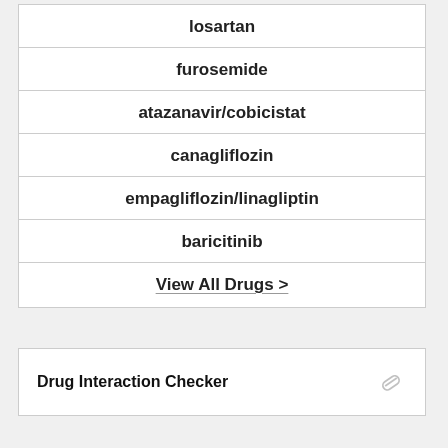losartan
furosemide
atazanavir/cobicistat
canagliflozin
empagliflozin/linagliptin
baricitinib
View All Drugs >
Drug Interaction Checker